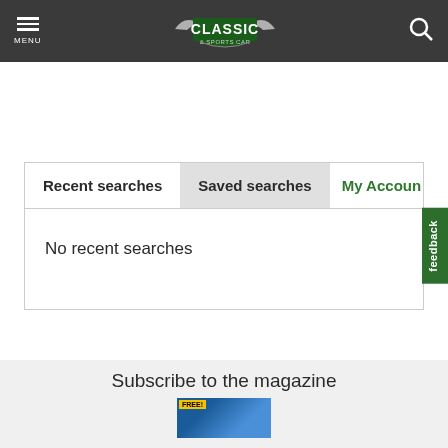MENU | CLASSIC & SPORTS CAR
Recent searches | Saved searches | My Account
No recent searches
feedback
Subscribe to the magazine